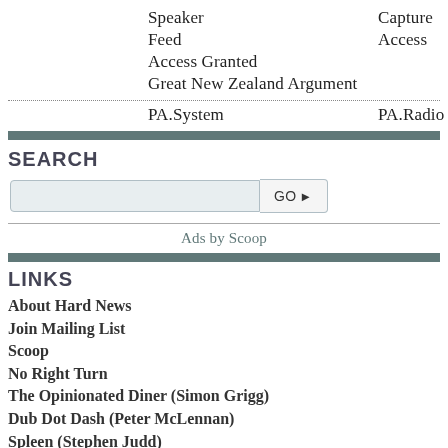Speaker	Capture
Feed	Access
Access Granted
Great New Zealand Argument
PA.System	PA.Radio
SEARCH
Ads by Scoop
LINKS
About Hard News
Join Mailing List
Scoop
No Right Turn
The Opinionated Diner (Simon Grigg)
Dub Dot Dash (Peter McLennan)
Spleen (Stephen Judd)
Robyn Gallagher
Chris Bourke